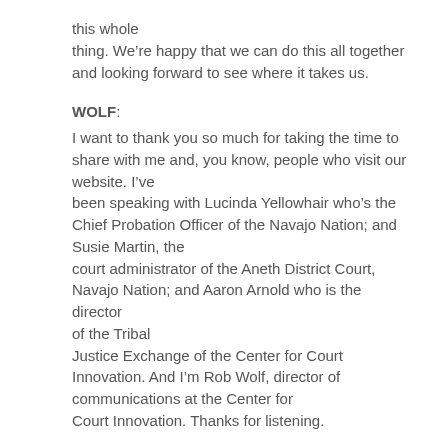this whole thing. We're happy that we can do this all together and looking forward to see where it takes us.
WOLF: I want to thank you so much for taking the time to share with me and, you know, people who visit our website. I've been speaking with Lucinda Yellowhair who's the Chief Probation Officer of the Navajo Nation; and Susie Martin, the court administrator of the Aneth District Court, Navajo Nation; and Aaron Arnold who is the director of the Tribal Justice Exchange of the Center for Court Innovation. And I'm Rob Wolf, director of communications at the Center for Court Innovation. Thanks for listening.